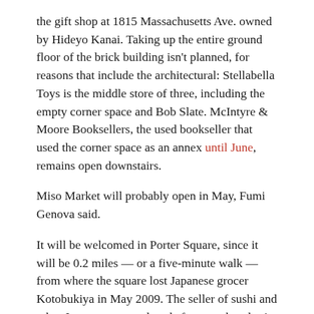the gift shop at 1815 Massachusetts Ave. owned by Hideyo Kanai. Taking up the entire ground floor of the brick building isn't planned, for reasons that include the architectural: Stellabella Toys is the middle store of three, including the empty corner space and Bob Slate. McIntyre & Moore Booksellers, the used bookseller that used the corner space as an annex until June, remains open downstairs.
Miso Market will probably open in May, Fumi Genova said.
It will be welcomed in Porter Square, since it will be 0.2 miles — or a five-minute walk — from where the square lost Japanese grocer Kotobukiya in May 2009. The seller of sushi and other Japanese treats closed after two decades in the Porter Exchange when Lesley University, the largest occupant in the former Sears building, needed space to expand its bookstore.
Two former employees opened Ebisuya Japanese Market a year later at 65 Riverside Ave., Medford —